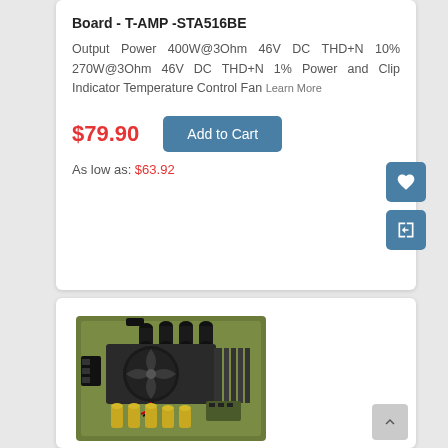Board - T-AMP -STA516BE
Output Power 400W@3Ohm 46V DC THD+N 10% 270W@3Ohm 46V DC THD+N 1% Power and Clip Indicator Temperature Control Fan Learn More
$79.90
Add to Cart
As low as: $63.92
[Figure (photo): Photo of T-AMP STA516BE amplifier board with cooling fan, capacitors, and electronic components on a green PCB]